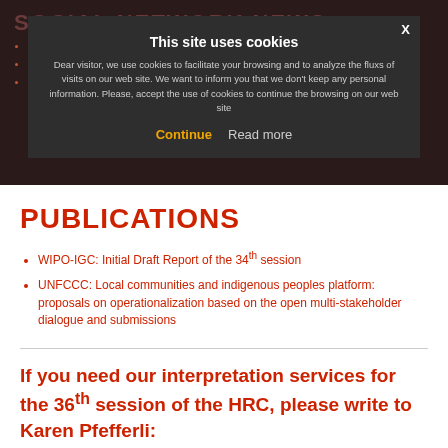SOCIAL NETWORK NEWS
This site uses cookies
Dear visitor, we use cookies to facilitate your browsing and to analyze the fluxs of visits on our web site. We want to inform you that we don't keep any personal information. Please, accept the use of cookies to continue the browsing on our web site
Continue  Read more
12. Conference of Youth: small enough tools for large-scale...
Перланта несекол... тех...
Ингвар Томассен: ситуации с биологическим и химическим загрязнением тре...
PUBLICATIONS
WIPO-IGC: Initial Draft Report of the 34th session
UNFCCC: Local communities and indigenous peoples platform: proposals on operationalization based on the open multi-stakeholder dialogue and submissions
If you need our interpretation services for the 36th session of the HRC, please write to Karen Pfefferli: